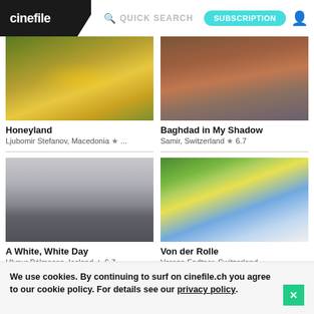cinefile | QUICK SEARCH | SUBSCRIPTION
[Figure (photo): Honeyland film thumbnail - bees and golden tones]
Honeyland
Ljubomir Stefanov, Macedonia ★ ...
[Figure (photo): Baghdad in My Shadow film thumbnail - two people]
Baghdad in My Shadow
Samir, Switzerland ★ 6.7
[Figure (photo): A White, White Day film thumbnail - man on a road]
A White, White Day
Hlynur Pálmason, Iceland ★ 6.7
[Figure (photo): Von der Rolle film thumbnail - child on bicycle outdoors]
Von der Rolle
Verena Endtner, Switzerland
We use cookies. By continuing to surf on cinefile.ch you agree to our cookie policy. For details see our privacy policy.